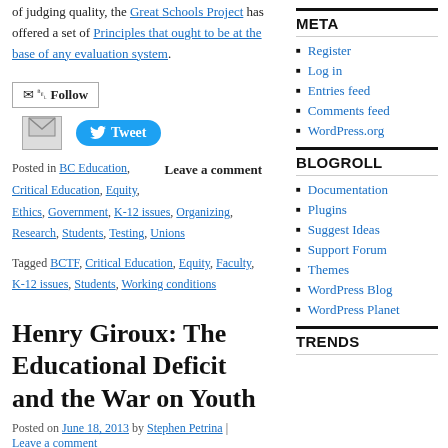of judging quality, the Great Schools Project has offered a set of Principles that ought to be at the base of any evaluation system.
Follow
Tweet
Posted in BC Education, Critical Education, Equity, Ethics, Government, K-12 issues, Organizing, Research, Students, Testing, Unions
Leave a comment
Tagged BCTF, Critical Education, Equity, Faculty, K-12 issues, Students, Working conditions
Henry Giroux: The Educational Deficit and the War on Youth
Posted on June 18, 2013 by Stephen Petrina | Leave a comment
META
Register
Log in
Entries feed
Comments feed
WordPress.org
BLOGROLL
Documentation
Plugins
Suggest Ideas
Support Forum
Themes
WordPress Blog
WordPress Planet
TRENDS